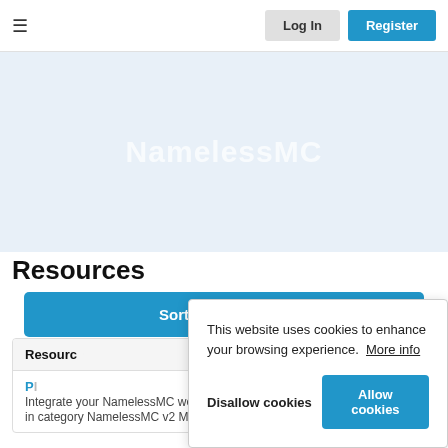NamelessMC - Log In | Register
NamelessMC
Resources
Sort By Newest
Resource
P
Integrate ... your NamelessMC website in category NamelessMC v2 Modular
This website uses cookies to enhance your browsing experience. More info
Disallow cookies | Allow cookies